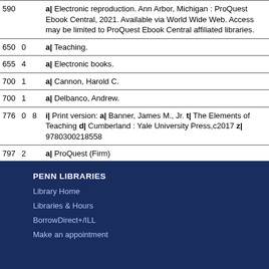| Tag | Ind1 | Ind2 | Data |
| --- | --- | --- | --- |
| 590 |  |  | a| Electronic reproduction. Ann Arbor, Michigan : ProQuest Ebook Central, 2021. Available via World Wide Web. Access may be limited to ProQuest Ebook Central affiliated libraries. |
| 650 | 0 |  | a| Teaching. |
| 655 | 4 |  | a| Electronic books. |
| 700 | 1 |  | a| Cannon, Harold C. |
| 700 | 1 |  | a| Delbanco, Andrew. |
| 776 | 0 | 8 | i| Print version: a| Banner, James M., Jr. t| The Elements of Teaching d| Cumberland : Yale University Press,c2017 z| 9780300218558 |
| 797 | 2 |  | a| ProQuest (Firm) |
PENN LIBRARIES
Library Home
Libraries & Hours
BorrowDirect+/ILL
Make an appointment